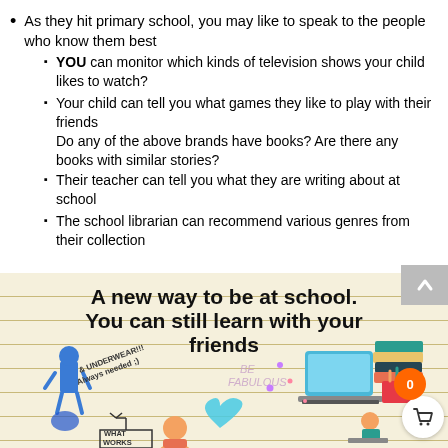As they hit primary school, you may like to speak to the people who know them best
YOU can monitor which kinds of television shows your child likes to watch?
Your child can tell you what games they like to play with their friends
Do any of the above brands have books? Are there any books with similar stories?
Their teacher can tell you what they are writing about at school
The school librarian can recommend various genres from their collection
[Figure (infographic): Infographic with lined notebook background showing text 'A new way to be at school. You can still learn with your friends' with decorative elements including a blue figure, laptop, books, heart, flowers, and characters]